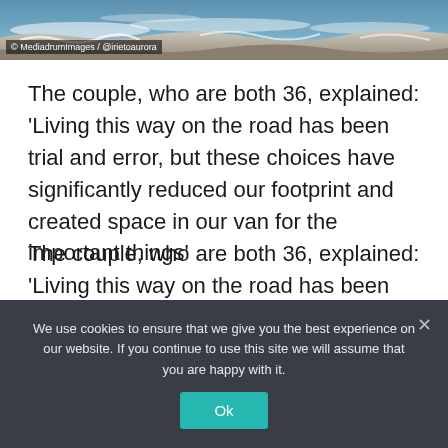[Figure (photo): Aerial or close-up photo of ocean waves and rocky shoreline with snow/foam]
© MediadrumImages / @irietoaurora
The couple, who are both 36, explained: ‘Living this way on the road has been trial and error, but these choices have significantly reduced our footprint and created space in our van for the important things’
The couple, who are both 36, explained: ‘Living this way on the road has been trial and error, but these choices have significantly reduced our footprint and created space in our van for the important things.
We use cookies to ensure that we give you the best experience on our website. If you continue to use this site we will assume that you are happy with it.